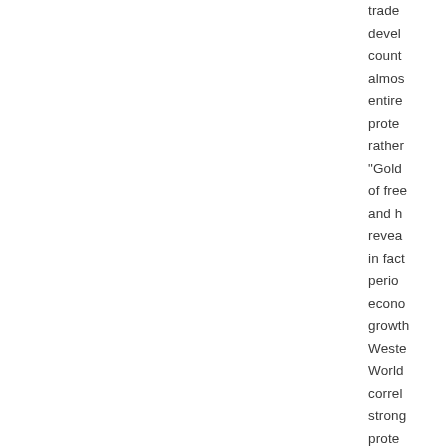trade develop count almost entire prote rather "Gold of free and h revea in fact perio econ growth Weste World correl strong prote policy also demo that